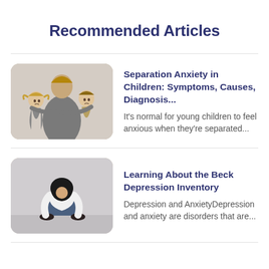Recommended Articles
[Figure (photo): Two children hugging an adult tightly, looking sad and anxious]
Separation Anxiety in Children: Symptoms, Causes, Diagnosis...
It's normal for young children to feel anxious when they're separated...
[Figure (photo): A person in a white shirt sitting hunched over with head down, appearing depressed]
Learning About the Beck Depression Inventory
Depression and AnxietyDepression and anxiety are disorders that are...